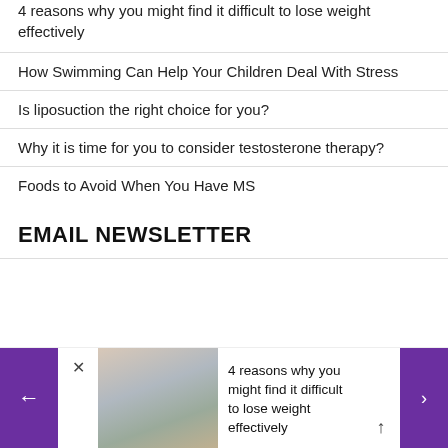4 reasons why you might find it difficult to lose weight effectively
How Swimming Can Help Your Children Deal With Stress
Is liposuction the right choice for you?
Why it is time for you to consider testosterone therapy?
Foods to Avoid When You Have MS
EMAIL NEWSLETTER
[Figure (screenshot): Bottom navigation bar with purple left arrow button, close X button, thumbnail image of a woman in a kitchen, article title text, up arrow, and purple right arrow button. Article title: '4 reasons why you might find it difficult to lose weight effectively']